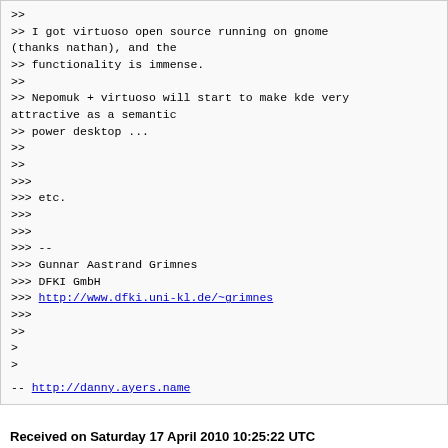>>
>> I got virtuoso open source running on gnome (thanks nathan), and the
>> functionality is immense.
>>
>> Nepomuk + virtuoso will start to make kde very attractive as a semantic
>> power desktop ...
>>
>>
>>>
>>> etc.
>>>
>>>
>>> --
>>> Gunnar Aastrand Grimnes
>>> DFKI GmbH
>>> http://www.dfki.uni-kl.de/~grimnes
>>>
>>
>
>

--
http://danny.ayers.name
Received on Saturday 17 April 2010 10:25:22 UTC